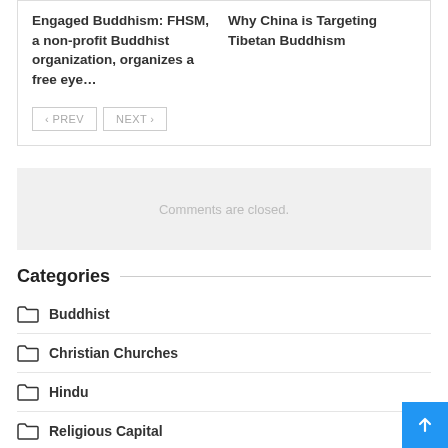Engaged Buddhism: FHSM, a non-profit Buddhist organization, organizes a free eye…
Why China is Targeting Tibetan Buddhism
‹ PREV   NEXT ›
Comments are closed.
Categories
Buddhist
Christian Churches
Hindu
Religious Capital